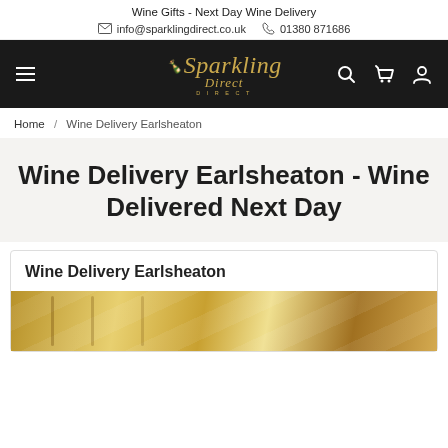Wine Gifts - Next Day Wine Delivery
info@sparklingdirect.co.uk   01380 871686
[Figure (logo): Sparkling Direct logo in gold italic script on dark background]
Home / Wine Delivery Earlsheaton
Wine Delivery Earlsheaton - Wine Delivered Next Day
Wine Delivery Earlsheaton
[Figure (photo): Close-up photo of wine bottles with gold foil tops]